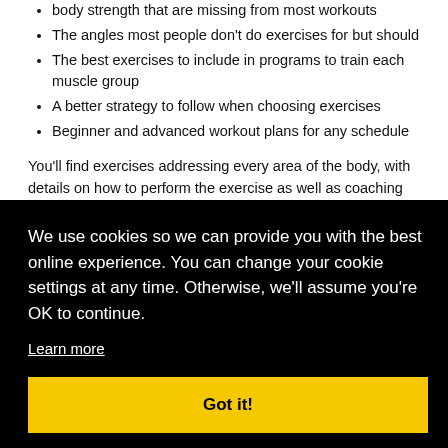body strength that are missing from most workouts
The angles most people don't do exercises for but should
The best exercises to include in programs to train each muscle group
A better strategy to follow when choosing exercises
Beginner and advanced workout plans for any schedule
You'll find exercises addressing every area of the body, with details on how to perform the exercise as well as coaching tips. Each exercise is provided with the brief for the background and
We use cookies so we can provide you with the best online experience. You can change your cookie settings at any time. Otherwise, we'll assume you're OK to continue.
Learn more
Got it!
Learning Objectiv...